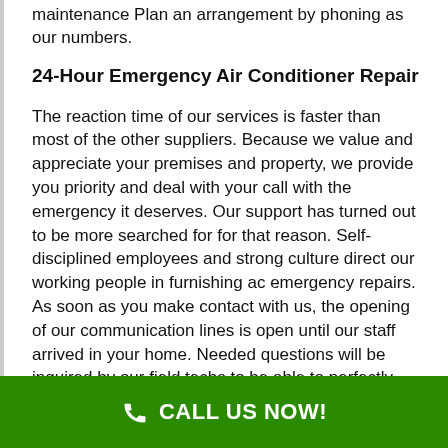maintenance Plan an arrangement by phoning as our numbers.
24-Hour Emergency Air Conditioner Repair
The reaction time of our services is faster than most of the other suppliers. Because we value and appreciate your premises and property, we provide you priority and deal with your call with the emergency it deserves. Our support has turned out to be more searched for for that reason. Self-disciplined employees and strong culture direct our working people in furnishing ac emergency repairs. As soon as you make contact with us, the opening of our communication lines is open until our staff arrived in your home. Needed questions will be inquired by our field techs to be able to perfectly find the fault of the ailing units. Long lasting positive impression is vital at Air Condition Pros of West End. We also use cutting edge technological innovation and equipment in carrying out the ac
CALL US NOW!